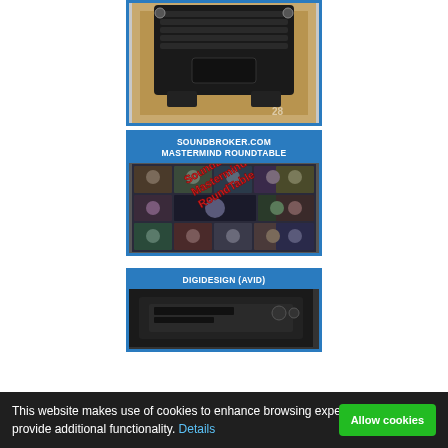[Figure (photo): Photo of a black audio/speaker equipment (appears to be a subwoofer or stage monitor) in a wooden crate/shipping box, viewed from above]
[Figure (photo): SoundBroker.com Mastermind Roundtable promotional image with blue header text and a collage of video call participants with red diagonal text overlay reading SoundBroker's Mastermind RoundTable]
[Figure (photo): DIGIDESIGN (AVID) product image, partially visible at bottom of page]
This website makes use of cookies to enhance browsing experience and provide additional functionality. Details Allow cookies